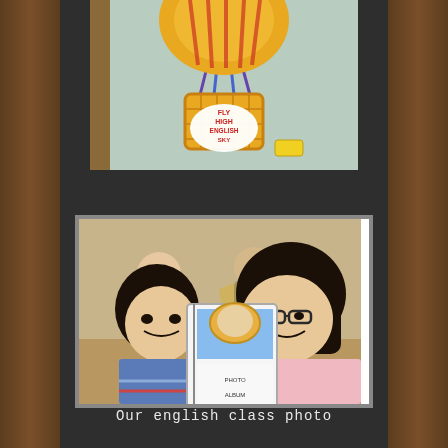[Figure (photo): Hot air balloon illustration/decoration with text reading 'FLY HIGH with ENGLISH SKY' on a cloud-shaped label, displayed against a wall background]
[Figure (photo): Two young students (girls) sitting at a desk in a classroom, holding up what appears to be a photo album or class book. Other students visible in background.]
Our english class photo